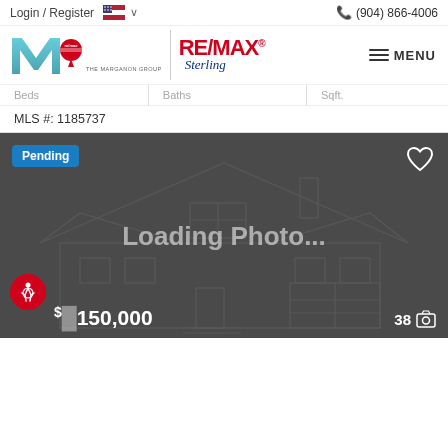Login / Register  (904) 866-4006
[Figure (logo): RE/MAX Sterling - The Marganon Group logo with M initial and RE/MAX balloon, plus MENU hamburger navigation]
| Beds | Baths | Sqft. |
| --- | --- | --- |
|  |  |  |
| MLS #: 1185737 |  |  |
[Figure (photo): Listing card with dark background showing a wireframe house illustration, Loading Photo... text, Pending badge, heart/favorite icon, accessibility button, price $[c]150,000, and photo count 38]